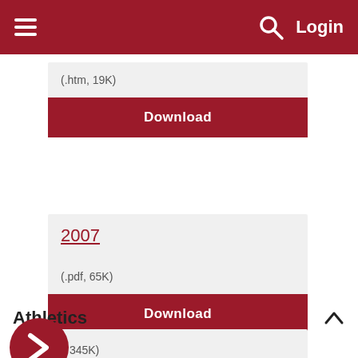Login
(.htm, 19K)
Download
2007
(.pdf, 65K)
Download
Athletics
...l, 345K)